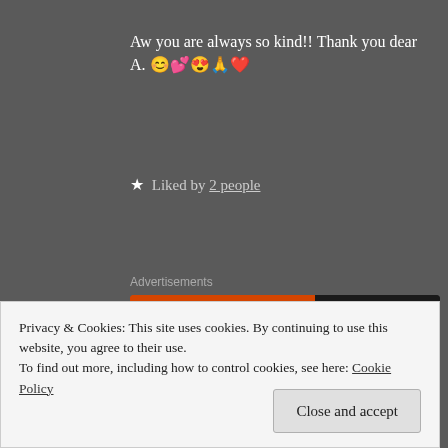Aw you are always so kind!! Thank you dear A. 😊💕😍🙏❤️
★ Liked by 2 people
Advertisements
[Figure (screenshot): DuckDuckGo advertisement banner with orange background. Text reads: 'Search, browse, and email with more privacy. All in One Free App'. Shows a phone with DuckDuckGo logo and brand name.]
Privacy & Cookies: This site uses cookies. By continuing to use this website, you agree to their use.
To find out more, including how to control cookies, see here: Cookie Policy
Close and accept